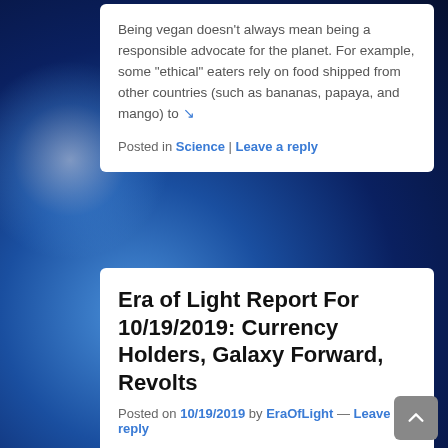Being vegan doesn't always mean being a responsible advocate for the planet. For example, some “ethical” eaters rely on food shipped from other countries (such as bananas, papaya, and mango) to ↘
Posted in Science | Leave a reply
Era of Light Report For 10/19/2019: Currency Holders, Galaxy Forward, Revolts
Posted on 10/19/2019 by EraOfLight — Leave a reply
[Figure (photo): the future is now eraoflightdotcom (broken image placeholder)]